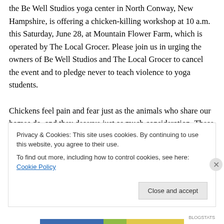the Be Well Studios yoga center in North Conway, New Hampshire, is offering a chicken-killing workshop at 10 a.m. this Saturday, June 28, at Mountain Flower Farm, which is operated by The Local Grocer. Please join us in urging the owners of Be Well Studios and The Local Grocer to cancel the event and to pledge never to teach violence to yoga students.

Chickens feel pain and fear just as the animals who share our homes do, and they deserve just as much consideration. These intelligent birds form strong family units, and mother hens even cluck to their unborn chicks
Privacy & Cookies: This site uses cookies. By continuing to use this website, you agree to their use.
To find out more, including how to control cookies, see here: Cookie Policy
Close and accept